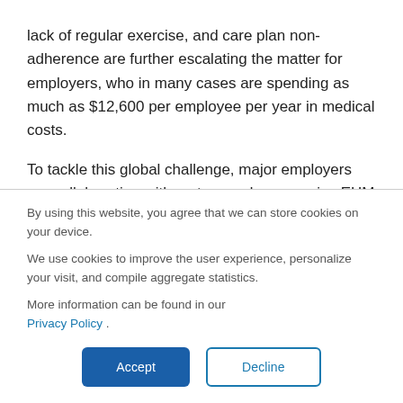lack of regular exercise, and care plan non-adherence are further escalating the matter for employers, who in many cases are spending as much as $12,600 per employee per year in medical costs.
To tackle this global challenge, major employers are collaborating with mature and progressive EHM IT
By using this website, you agree that we can store cookies on your device.

We use cookies to improve the user experience, personalize your visit, and compile aggregate statistics.

More information can be found in our Privacy Policy.